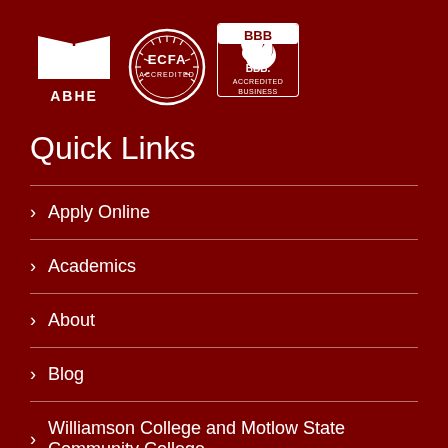[Figure (logo): Three accreditation logos: ABHE (Association for Biblical Higher Education), ECFA Accredited circular seal, and BBB Accredited Business shield]
Quick Links
Apply Online
Academics
About
Blog
Williamson College and Motlow State Community College